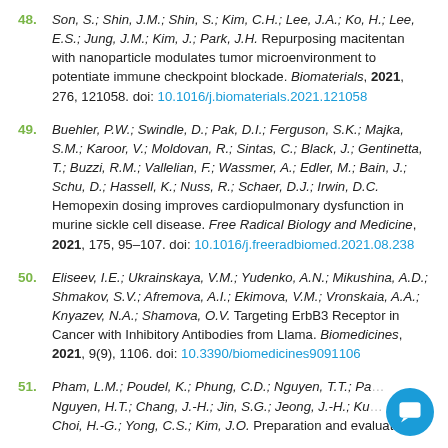48. Son, S.; Shin, J.M.; Shin, S.; Kim, C.H.; Lee, J.A.; Ko, H.; Lee, E.S.; Jung, J.M.; Kim, J.; Park, J.H. Repurposing macitentan with nanoparticle modulates tumor microenvironment to potentiate immune checkpoint blockade. Biomaterials, 2021, 276, 121058. doi: 10.1016/j.biomaterials.2021.121058
49. Buehler, P.W.; Swindle, D.; Pak, D.I.; Ferguson, S.K.; Majka, S.M.; Karoor, V.; Moldovan, R.; Sintas, C.; Black, J.; Gentinetta, T.; Buzzi, R.M.; Vallelian, F.; Wassmer, A.; Edler, M.; Bain, J.; Schu, D.; Hassell, K.; Nuss, R.; Schaer, D.J.; Irwin, D.C. Hemopexin dosing improves cardiopulmonary dysfunction in murine sickle cell disease. Free Radical Biology and Medicine, 2021, 175, 95–107. doi: 10.1016/j.freeradbiomed.2021.08.238
50. Eliseev, I.E.; Ukrainskaya, V.M.; Yudenko, A.N.; Mikushina, A.D.; Shmakov, S.V.; Afremova, A.I.; Ekimova, V.M.; Vronskaia, A.A.; Knyazev, N.A.; Shamova, O.V. Targeting ErbB3 Receptor in Cancer with Inhibitory Antibodies from Llama. Biomedicines, 2021, 9(9), 1106. doi: 10.3390/biomedicines9091106
51. Pham, L.M.; Poudel, K.; Phung, C.D.; Nguyen, T.T.; Pa... Nguyen, H.T.; Chang, J.-H.; Jin, S.G.; Jeong, J.-H.; Ku... Choi, H.-G.; Yong, C.S.; Kim, J.O. Preparation and evaluation of...